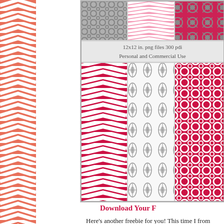[Figure (illustration): Left side chevron/zigzag border strip in coral/salmon pink and white colors running the full height of the page]
[Figure (illustration): Product preview image showing digital scrapbook paper patterns including quatrefoil, damask, and chevron patterns in pink, gray, and red/magenta colors. Text overlay reads: 12x12 in. png files 300 pdi / Personal and Commercial Use]
Download Your F
Here's another freebie for you!  This time I from including quatrefoil, damask, chevron geometric patterns.  I chose four basic colo pink, gray and white.  There are 22 differe  Enjoy! :)